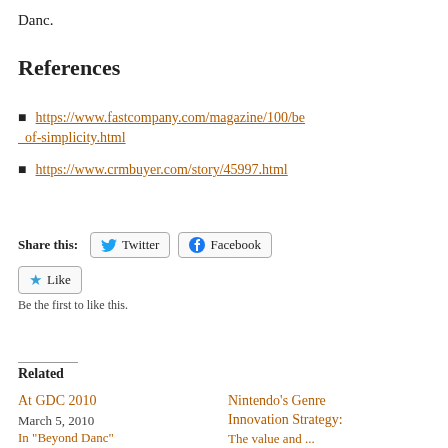Danc.
References
https://www.fastcompany.com/magazine/100/bea of-simplicity.html
https://www.crmbuyer.com/story/45997.html
Share this: Twitter Facebook
Like
Be the first to like this.
Related
At GDC 2010
March 5, 2010
In "Beyond Danc"
Nintendo's Genre Innovation Strategy:
The value and ...